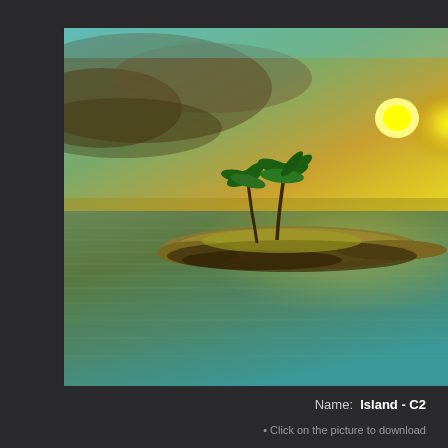[Figure (illustration): A digital/rendered landscape scene showing a small tropical island with palm trees and rocky shore in the middle of a calm ocean, under a golden-teal sunset sky with the sun glowing brightly on the right side. The water reflects warm yellow-green hues. Dark border with UI panel context.]
Name:  Island - C2
* Click on the picture to download